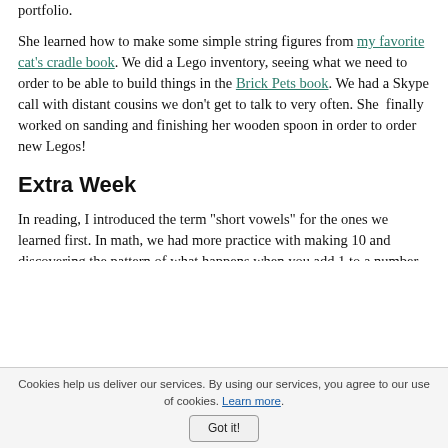portfolio.
She learned how to make some simple string figures from my favorite cat's cradle book. We did a Lego inventory, seeing what we need to order to be able to build things in the Brick Pets book. We had a Skype call with distant cousins we don't get to talk to very often. She finally worked on sanding and finishing her wooden spoon in order to order new Legos!
Extra Week
In reading, I introduced the term "short vowels" for the ones we learned first. In math, we had more practice with making 10 and discovering the pattern of what happens when you add 1 to a number. There was plenty of counting and describing while checking our logs
Cookies help us deliver our services. By using our services, you agree to our use of cookies. Learn more. Got it!